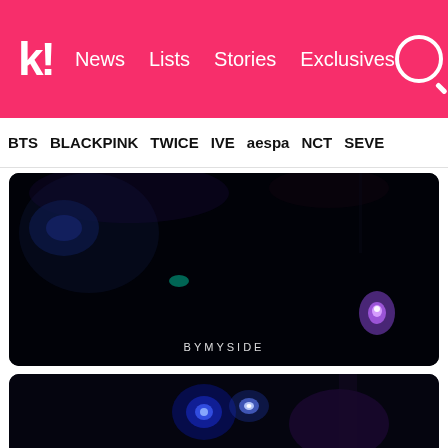k! News Lists Stories Exclusives
BTS BLACKPINK TWICE IVE aespa NCT SEVE
[Figure (photo): Dark concert/music video scene with blue and purple stage lighting, nearly black image with a small purple/white light visible on the right side. Text 'BYMYSIDE' visible at bottom center.]
[Figure (photo): Partially visible concert scene with blue and purple bokeh lights, showing beginning of another image below.]